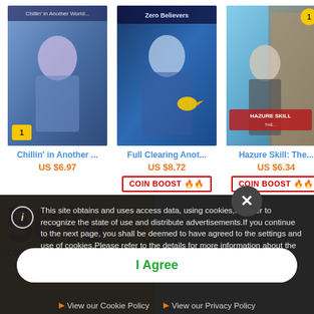[Figure (screenshot): Manga book cover 1: Chillin' in Another... - anime style illustration with blue/purple tones]
Chillin' in Another ...
US $6.97
[Figure (screenshot): Manga book cover 2: Full Clearing Anot... - anime style illustration with blue tones]
Full Clearing Anot...
US $8.72
COIN BOOST 🔥🔥
[Figure (screenshot): Manga book cover 3: Hazure Skill: The... - anime style illustration with sky blue tones, HazureSkill logo]
Hazure Skill: The...
US $6.34
COIN BOOST 🔥🔥
[Figure (screenshot): Yellow promotional banner with pink 50% text in background]
This site obtains and uses access data, using cookies,In order to recognize the state of use and distribute advertisements.If you continue to the next page, you shall be deemed to have agreed to the settings and use of cookies.Please refer to the details for more information about the settings and use of cookies and opt-out.
I Agree
View our Cookie Policy
View our Privacy Policy